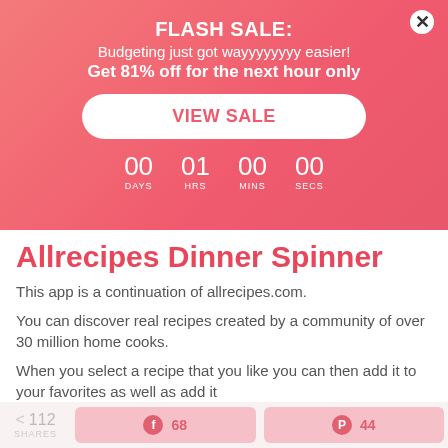FLASH SALE: Budgeting just got wayyyyyyyy easier! Get 81% off for the next hour only
VIEW SALE
00 DAYS  01 HRS  00 MINS  00 SECS
Allrecipes Dinner Spinner
This app is a continuation of allrecipes.com.
You can discover real recipes created by a community of over 30 million home cooks.
When you select a recipe that you like you can then add it to your favorites as well as add it
< 112 SHARES  [Facebook] 68  [Pinterest] 44